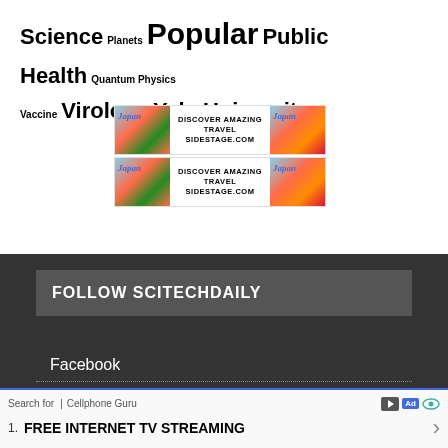Science Planets Popular Public Health Quantum Physics Vaccine Virology Yale University
[Figure (photo): Two travel advertisement banners for Japan showing pagoda/mountain imagery with text 'DISCOVER AMAZING TRAVEL SIDESTAGE.COM']
FOLLOW SCITECHDAILY
Facebook
Search for | Cellphone Guru  1. FREE INTERNET TV STREAMING